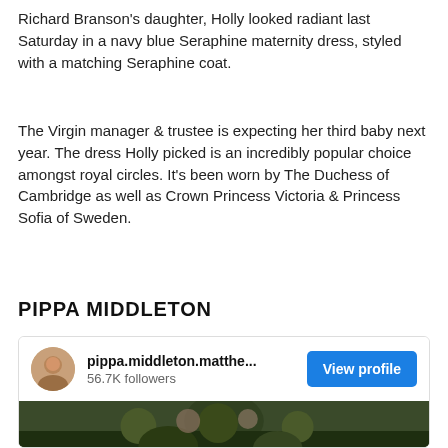Richard Branson's daughter, Holly looked radiant last Saturday in a navy blue Seraphine maternity dress, styled with a matching Seraphine coat.
The Virgin manager & trustee is expecting her third baby next year. The dress Holly picked is an incredibly popular choice amongst royal circles. It's been worn by The Duchess of Cambridge as well as Crown Princess Victoria & Princess Sofia of Sweden.
PIPPA MIDDLETON
[Figure (screenshot): Social media profile card for pippa.middleton.matthe... showing 56.7K followers with a View profile button and a photo of people outdoors]